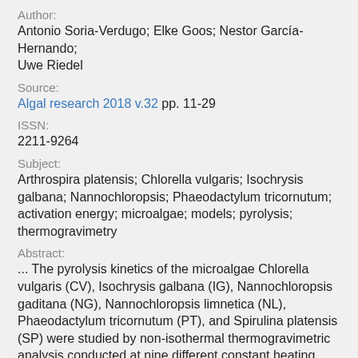Author:
Antonio Soria-Verdugo; Elke Goos; Nestor García-Hernando; Uwe Riedel
Source:
Algal research 2018 v.32 pp. 11-29
ISSN:
2211-9264
Subject:
Arthrospira platensis; Chlorella vulgaris; Isochrysis galbana; Nannochloropsis; Phaeodactylum tricornutum; activation energy; microalgae; models; pyrolysis; thermogravimetry
Abstract:
... The pyrolysis kinetics of the microalgae Chlorella vulgaris (CV), Isochrysis galbana (IG), Nannochloropsis gaditana (NG), Nannochloropsis limnetica (NL), Phaeodactylum tricornutum (PT), and Spirulina platensis (SP) were studied by non-isothermal thermogravimetric analysis conducted at nine different constant heating rates. The kinetic parameters of each microalgae species were calculated